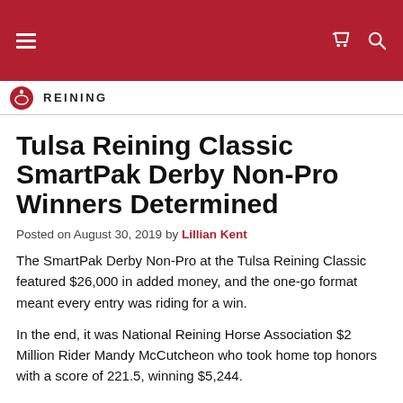REINING
Tulsa Reining Classic SmartPak Derby Non-Pro Winners Determined
Posted on August 30, 2019 by Lillian Kent
The SmartPak Derby Non-Pro at the Tulsa Reining Classic featured $26,000 in added money, and the one-go format meant every entry was riding for a win.
In the end, it was National Reining Horse Association $2 Million Rider Mandy McCutcheon who took home top honors with a score of 221.5, winning $5,244.